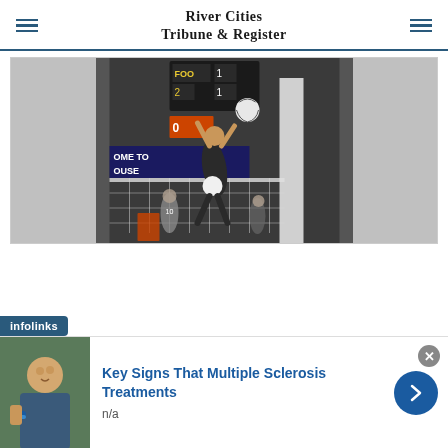River Cities Tribune & Register
[Figure (photo): Volleyball player jumping high at the net spiking the ball during an indoor match, with scoreboard visible in background and teammates/spectators watching]
This website uses cookies to enhance user experience and to analyze performance and traffic on our website.
[Figure (logo): infolinks logo in white text on dark blue/teal background]
[Figure (photo): Person outdoors wearing blue wristband, used as ad thumbnail]
Key Signs That Multiple Sclerosis Treatments
n/a